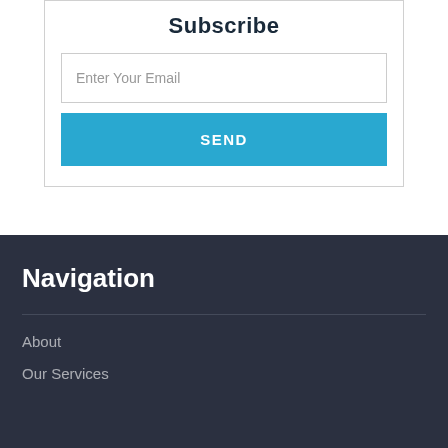Subscribe
Enter Your Email
SEND
Navigation
About
Our Services